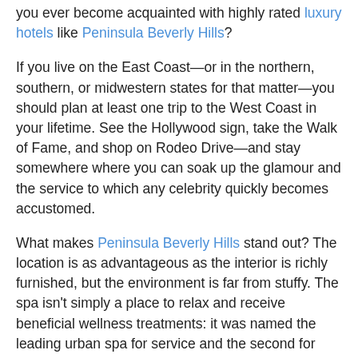you ever become acquainted with highly rated luxury hotels like Peninsula Beverly Hills?
If you live on the East Coast—or in the northern, southern, or midwestern states for that matter—you should plan at least one trip to the West Coast in your lifetime. See the Hollywood sign, take the Walk of Fame, and shop on Rodeo Drive—and stay somewhere where you can soak up the glamour and the service to which any celebrity quickly becomes accustomed.
What makes Peninsula Beverly Hills stand out? The location is as advantageous as the interior is richly furnished, but the environment is far from stuffy. The spa isn't simply a place to relax and receive beneficial wellness treatments: it was named the leading urban spa for service and the second for treatments in all of the United States. There's the massage services, body treatments, and nail suites to keep you busy, but that's only if you can leave your hotel room. With a 24-hour check-in, you can arrive whenever you'd like, quickly settling into a room that flaunts classic Renaissance design with all the modern touches. If you're looking for a larger